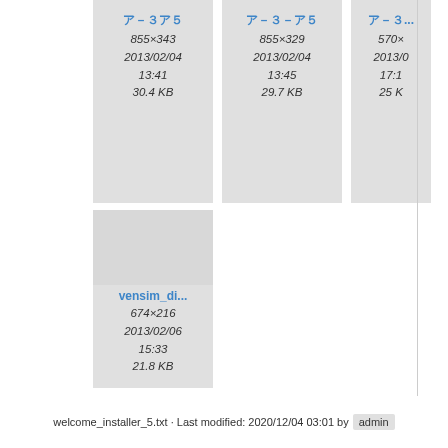[Figure (screenshot): File gallery card 1: image thumbnail area (grey), link text truncated, dimensions 855×343, date 2013/02/04 13:41, size 30.4 KB]
[Figure (screenshot): File gallery card 2: image thumbnail area (grey), link text truncated, dimensions 855×329, date 2013/02/04 13:45, size 29.7 KB]
[Figure (screenshot): File gallery card 3 (partial): image thumbnail area (grey), link text truncated, dimensions 570×?, date 2013/0?, time 17:1?, size 25 K?]
[Figure (screenshot): File gallery card 4: image thumbnail (tall grey area), link vensim_di..., dimensions 674×216, date 2013/02/06 15:33, size 21.8 KB]
welcome_installer_5.txt · Last modified: 2020/12/04 03:01 by admin